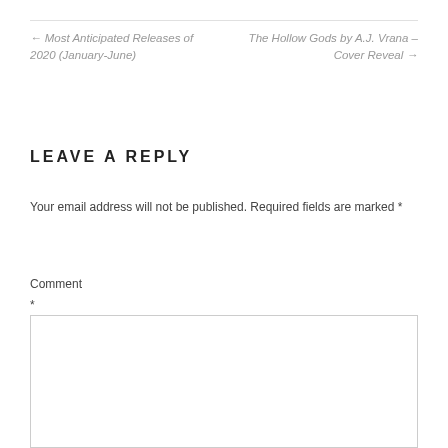← Most Anticipated Releases of 2020 (January-June)
The Hollow Gods by A.J. Vrana – Cover Reveal →
LEAVE A REPLY
Your email address will not be published. Required fields are marked *
Comment *